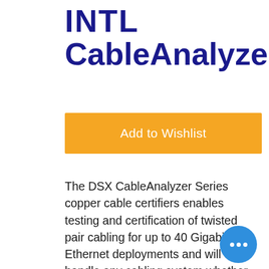INTL CableAnalyzer™
Add to Wishlist
The DSX CableAnalyzer Series copper cable certifiers enables testing and certification of twisted pair cabling for up to 40 Gigabit Ethernet deployments and will handle any cabling system whether it is a Cat 5e, 6, 6A, 8 or Class FA and I/II. Certifying a cable is one part of a process that starts with system design and ends with system acceptance. The faster that